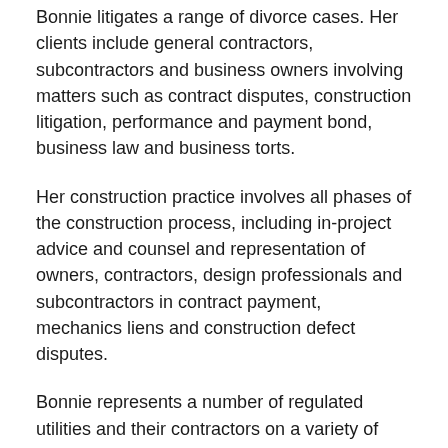Bonnie litigates a range of divorce cases. Her clients include general contractors, subcontractors and business owners involving matters such as contract disputes, construction litigation, performance and payment bond, business law and business torts.
Her construction practice involves all phases of the construction process, including in-project advice and counsel and representation of owners, contractors, design professionals and subcontractors in contract payment, mechanics liens and construction defect disputes.
Bonnie represents a number of regulated utilities and their contractors on a variety of matters such as commercial contract, construction payment, construction defect, property damage and tort liability cases, including defense of claims for personal injury and wrongful death. In her work for regulated utilities, she has particular experience in the nuclear power industry. Bonnie has coordinated and executed root cause evaluations and litigated claims arising from nuclear